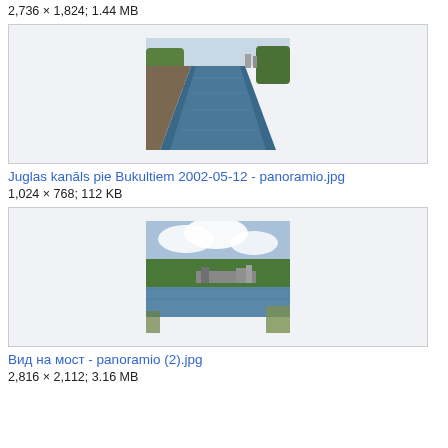2,736 × 1,824; 1.44 MB
[Figure (photo): Photo of a canal with tree-lined banks, viewed from above, with water reflecting the surroundings.]
Juglas kanāls pie Bukultiem 2002-05-12 - panoramio.jpg
1,024 × 768; 112 KB
[Figure (photo): Photo of a river or lake with a bridge or dock in the background, surrounded by trees under a cloudy sky.]
Вид на мост - panoramio (2).jpg
2,816 × 2,112; 3.16 MB